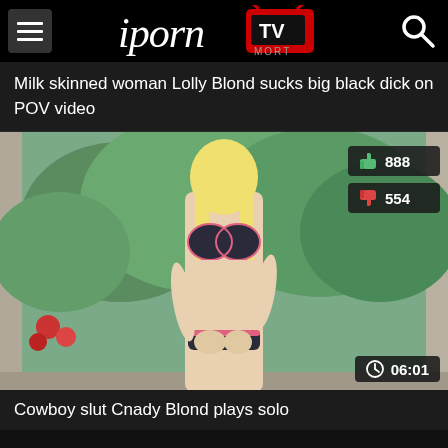iporn MORT TV
Milk skinned woman Lolly Blond sucks big black dick on POV video
[Figure (photo): Video thumbnail showing a blonde woman in a bikini top standing near a window with green foliage visible outside. Like count: 888, Dislike count: 554, Duration: 06:01]
Cowboy slut Cnady Blond plays solo